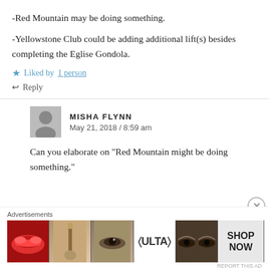-Red Mountain may be doing something.
-Yellowstone Club could be adding additional lift(s) besides completing the Eglise Gondola.
★ Liked by 1 person
↩ Reply
MISHA FLYNN
May 21, 2018 / 8:59 am
Can you elaborate on "Red Mountain might be doing something."
Advertisements